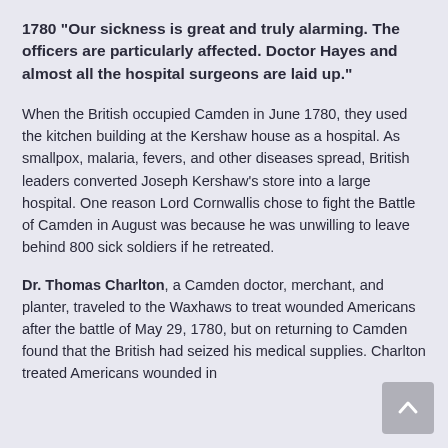1780 “Our sickness is great and truly alarming. The officers are particularly affected. Doctor Hayes and almost all the hospital surgeons are laid up.”
When the British occupied Camden in June 1780, they used the kitchen building at the Kershaw house as a hospital. As smallpox, malaria, fevers, and other diseases spread, British leaders converted Joseph Kershaw’s store into a large hospital. One reason Lord Cornwallis chose to fight the Battle of Camden in August was because he was unwilling to leave behind 800 sick soldiers if he retreated.
Dr. Thomas Charlton, a Camden doctor, merchant, and planter, traveled to the Waxhaws to treat wounded Americans after the battle of May 29, 1780, but on returning to Camden found that the British had seized his medical supplies. Charlton treated Americans wounded in